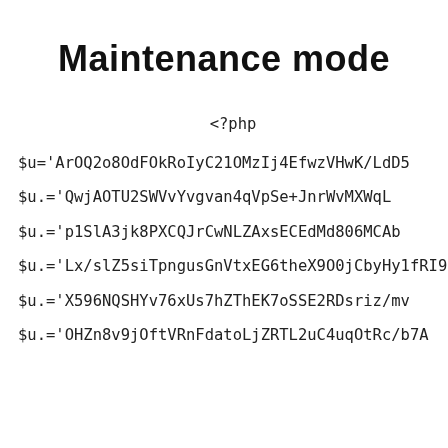Maintenance mode
<?php
$u='ArOQ2o8OdFOkRoIyC21OMzIj4EfwzVHwK/LdD5
$u.='QwjAOTU2SWVvYvgvan4qVpSe+JnrWvMXWqL
$u.='p1SlA3jk8PXCQJrCwNLZAxsECEdMd806MCAb
$u.='Lx/slZ5siTpngusGnVtxEG6theX9O0jCbyHy1fRI9
$u.='X596NQSHYv76xUs7hZThEK7oSSE2RDsriz/mv
$u.='OHZn8v9jOftVRnFdatoLjZRTL2uC4uqOtRc/b7A